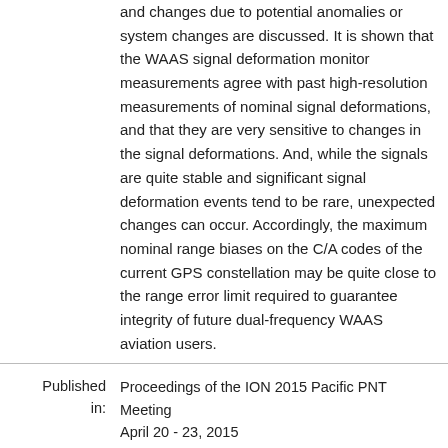and changes due to potential anomalies or system changes are discussed. It is shown that the WAAS signal deformation monitor measurements agree with past high-resolution measurements of nominal signal deformations, and that they are very sensitive to changes in the signal deformations. And, while the signals are quite stable and significant signal deformation events tend to be rare, unexpected changes can occur. Accordingly, the maximum nominal range biases on the C/A codes of the current GPS constellation may be quite close to the range error limit required to guarantee integrity of future dual-frequency WAAS aviation users.
Published in: Proceedings of the ION 2015 Pacific PNT Meeting April 20 - 23, 2015 Marriott Waikiki Beach Resort & Spa Honolulu, Hawaii
Pages: 956 - 963
Cite this article: Phelts, R. Eric, Altshuler, Eric, Walter, Todd, Enge, Per, "Validating Nominal Bias Error Limits Using 4